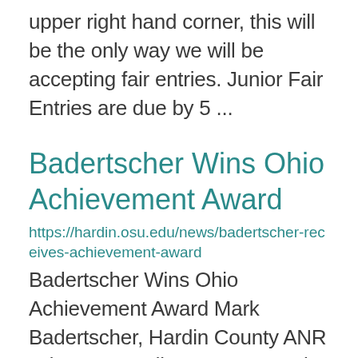upper right hand corner, this will be the only way we will be accepting fair entries. Junior Fair Entries are due by 5 ...
Badertscher Wins Ohio Achievement Award
https://hardin.osu.edu/news/badertscher-receives-achievement-award
Badertscher Wins Ohio Achievement Award Mark Badertscher, Hardin County ANR Educator Hardin County – Mark Badertscher was selected as one of two Ohio Agriculture and Natural Resources Extension Educators to be recognized for the National Association of Co...